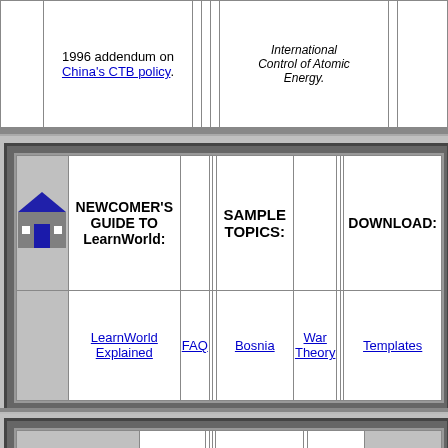|  | Text |  | italic-text |  |
| --- | --- | --- | --- | --- |
|  | 1996 addendum on China's CTB policy. |  | International Control of Atomic Energy. |  |
| icon | NEWCOMER'S GUIDE TO LearnWorld: | SAMPLE TOPICS: | DOWNLOAD: | icon |
| --- | --- | --- | --- | --- |
|  | LearnWorld Explained | FAQ | Bosnia | War Theory | Templates |  |
| house-img | KRUSE-LARKIN HOME PAGE: | GRAPHICS: | LINKS: | house-img |
| --- | --- | --- | --- | --- |
|  | Our Home Page | Our Home |  |  |
[Figure (infographic): Bottom navigation bar with buttons: Entry Page, WaySIGNS, Site Map, LearnWorld, Nuclear]